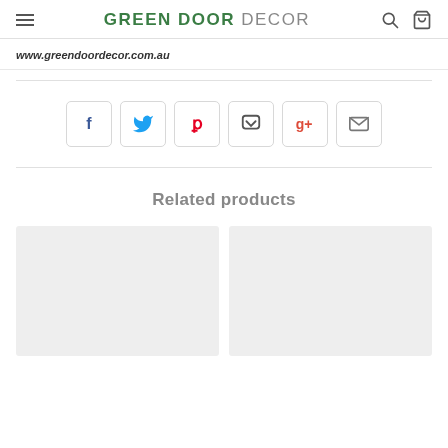GREEN DOOR DECOR
www.greendoordecor.com.au
[Figure (infographic): Row of six social sharing icon buttons: Facebook (blue f), Twitter (blue bird), Pinterest (red P), Pocket (dark bookmark), Google+ (red g+), Email (envelope)]
Related products
[Figure (photo): Two gray placeholder product image cards side by side]